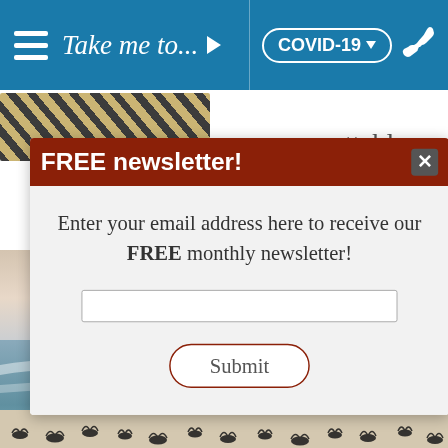Take me to... ▶   COVID-19 ▼  📞
[Figure (screenshot): Website screenshot showing a navigation bar with hamburger menu, 'Take me to...' text, COVID-19 dropdown button, and phone icon on a teal/blue background. Below is a popup modal for a FREE newsletter signup with email input and Submit button, overlaid on a beach/ocean photo with birds in flight.]
FREE newsletter!
Enter your email address here to receive our FREE monthly newsletter!
Submit